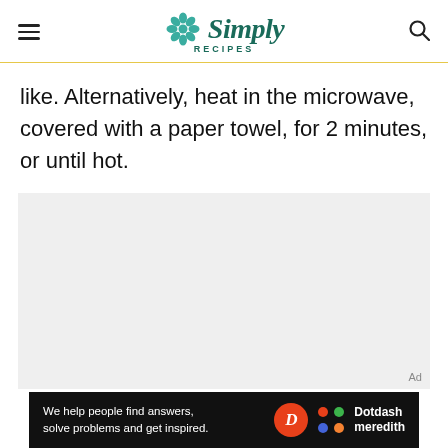Simply Recipes
like. Alternatively, heat in the microwave, covered with a paper towel, for 2 minutes, or until hot.
[Figure (other): Gray placeholder advertisement block with 'Ad' label in bottom right corner]
We help people find answers, solve problems and get inspired. Dotdash meredith